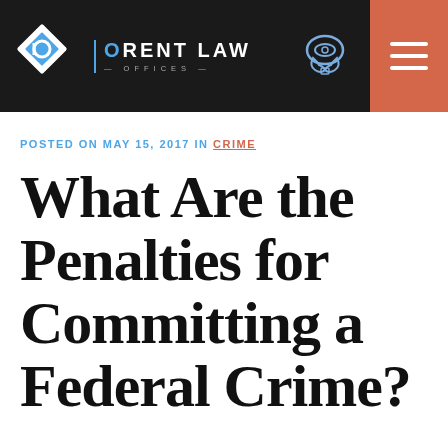Orent Law Offices
POSTED ON MAY 15, 2017 IN CRIME
What Are the Penalties for Committing a Federal Crime?